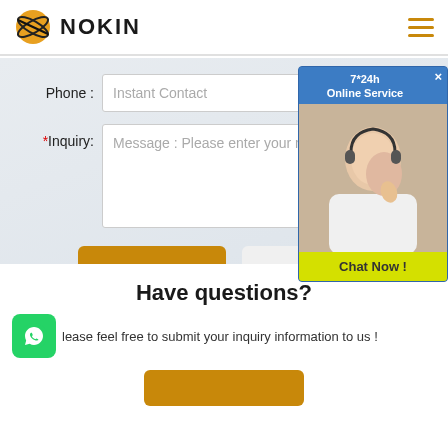[Figure (logo): NOKIN brand logo with orange globe/planet icon and text NOKIN]
Phone : Instant Contact
*Inquiry: Message : Please enter your message here
SUBMIT
RESET
[Figure (photo): 7*24h Online Service chat popup with a customer service representative photo and Chat Now button]
Have questions?
Please feel free to submit your inquiry information to us !